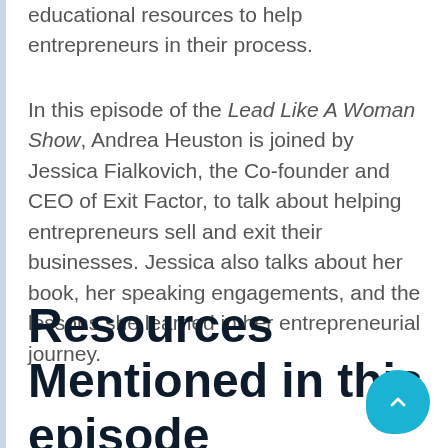educational resources to help entrepreneurs in their process.
In this episode of the Lead Like A Woman Show, Andrea Heuston is joined by Jessica Fialkovich, the Co-founder and CEO of Exit Factor, to talk about helping entrepreneurs sell and exit their businesses. Jessica also talks about her book, her speaking engagements, and the lessons she learned in her entrepreneurial journey.
Resources Mentioned in this episode